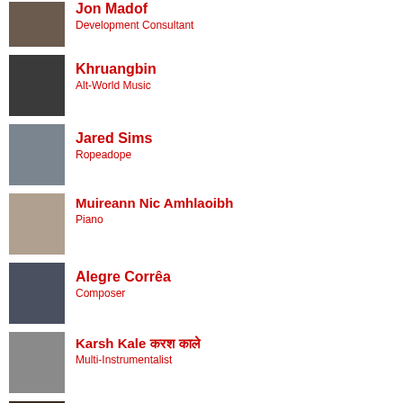Jon Madof — Development Consultant
Khruangbin — Alt-World Music
Jared Sims — Ropeadope
Muireann Nic Amhlaoibh — Piano
Alegre Corrêa — Composer
Karsh Kale करश काले — Multi-Instrumentalist
Sandra de Sá — Rio de Janeiro
(partial entry at bottom)